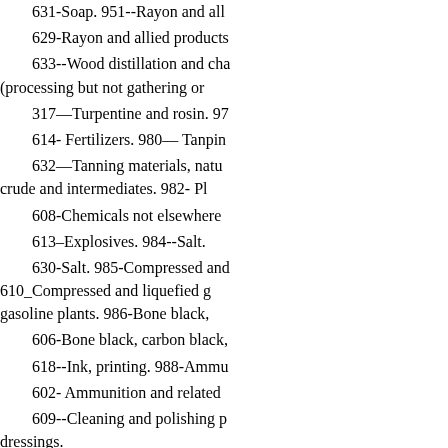631-Soap. 951--Rayon and all
629-Rayon and allied products
633--Wood distillation and cha (processing but not gathering or
317—Turpentine and rosin. 97
614- Fertilizers. 980— Tanpin
632—Tanning materials, natu crude and intermediates. 982- Pl
608-Chemicals not elsewhere
613–Explosives. 984--Salt.
630-Salt. 985-Compressed and 610_Compressed and liquefied g gasoline plants. 986-Bone black,
606-Bone black, carbon black,
618--Ink, printing. 988-Ammu
602- Ammunition and related
609--Cleaning and polishing p dressings.
604- Blacking, stains, and